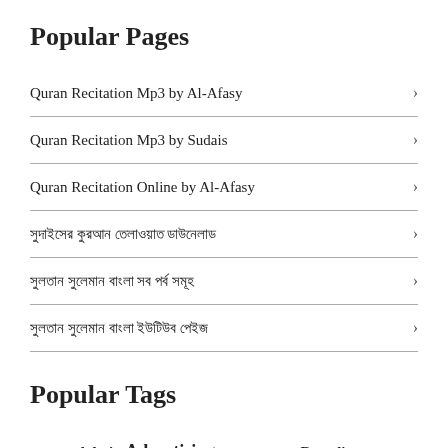Popular Pages
Quran Recitation Mp3 by Al-Afasy
Quran Recitation Mp3 by Sudais
Quran Recitation Online by Al-Afasy
সুদাইসের কুরআন তেলাওয়াত ডাউনেলাড
সুলতান সুলেমান বাংলা সব পর্ব সমূহ
সুলতান সুলেমান বাংলা ইউটিউব পেইজ
Popular Tags
Account Admin Advertising Announcement Branding Browser